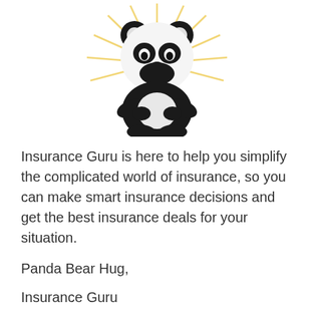[Figure (illustration): Black and white cartoon panda bear with a beard/mustache, sitting in a meditative pose with arms crossed, surrounded by yellow radiant light rays forming a halo effect. Logo for Insurance Guru.]
Insurance Guru is here to help you simplify the complicated world of insurance, so you can make smart insurance decisions and get the best insurance deals for your situation.
Panda Bear Hug,
Insurance Guru
POPULAR POSTS